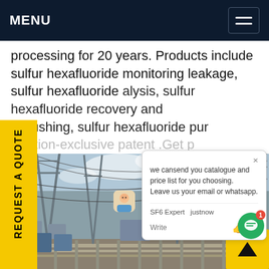MENU
processing for 20 years. Products include sulfur hexafluoride monitoring leakage, sulfur hexafluoride alysis, sulfur hexafluoride recovery and ekflushing, sulfur hexafluoride pur ification-exclusive patent .Get p
[Figure (photo): Electrical substation with power lines, transmission towers, transformers, and fencing under a partly cloudy sky]
REQUEST A QUOTE
we cansend you catalogue and price list for you choosing. Leave us your email or whatsapp.
SF6 Expert   justnow
Write